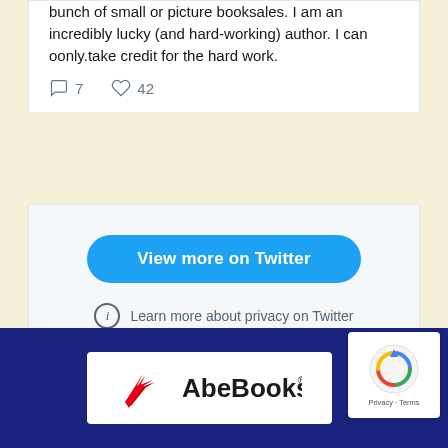bunch of small or picture booksales. I am an incredibly lucky (and hard-working) author. I can oonly.take credit for the hard work.
7  42
View more on Twitter
Learn more about privacy on Twitter
[Figure (logo): AbeBooks.com logo with red bird icon on white background inside dark blue banner]